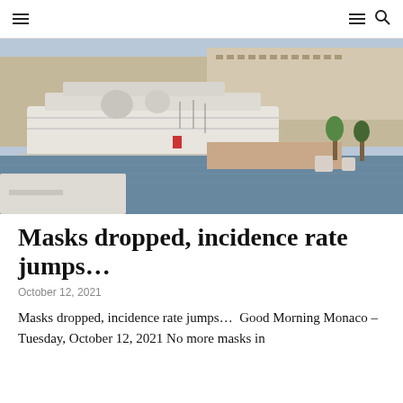≡  ≡ 🔍
[Figure (photo): Aerial view of Monaco harbor with a large white luxury yacht in the foreground, smaller boats moored in the marina, and Monaco city buildings and hillside in the background. Taken on a clear sunny day.]
Masks dropped, incidence rate jumps…
October 12, 2021
Masks dropped, incidence rate jumps…  Good Morning Monaco – Tuesday, October 12, 2021 No more masks in